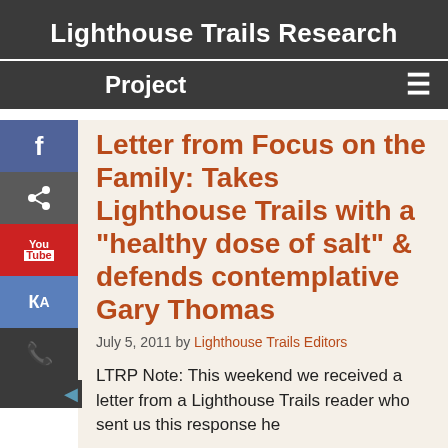Lighthouse Trails Research
Project
Letter from Focus on the Family: Takes Lighthouse Trails with a "healthy dose of salt" & defends contemplative Gary Thomas
July 5, 2011 by Lighthouse Trails Editors
LTRP Note: This weekend we received a letter from a Lighthouse Trails reader who sent us this response he